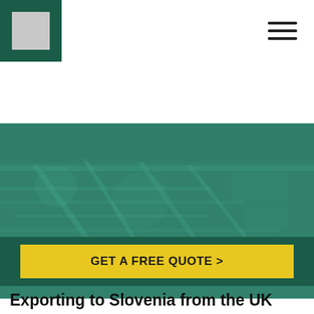[Figure (logo): Navigation bar with dark green logo block containing grey square placeholder, and hamburger menu icon on the right]
Exporting to Slovenia
GET A FREE QUOTE >
Exporting to Slovenia from the UK